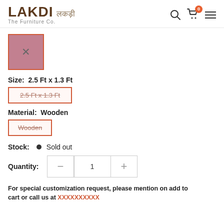LAKDI लकड़ी – The Furniture Co.
[Figure (other): Dusty rose/mauve color swatch with an X mark and orange border, indicating a selected but sold-out color variant]
Size:  2.5 Ft x 1.3 Ft
2.5 Ft x 1.3 Ft (strikethrough option button with orange border)
Material:  Wooden
Wooden (strikethrough option button with orange border)
Stock:  • Sold out
Quantity:  – 1 +
For special customization request, please mention on add to cart or call us at XXXXXXXXXX